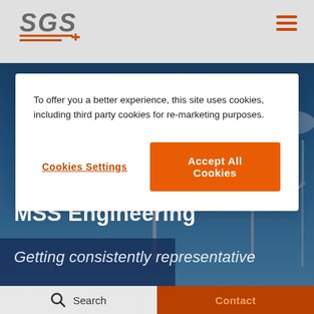SGS
[Figure (photo): Wind turbines against a cloudy blue sky, with solar panels visible in the lower portion. Dark blue overlay tint on the image.]
To offer you a better experience, this site uses cookies, including third party cookies for re-marketing purposes.
Cookies Settings
Accept All Cookies
MSS Engineering
Getting consistently representative
Search   Contact